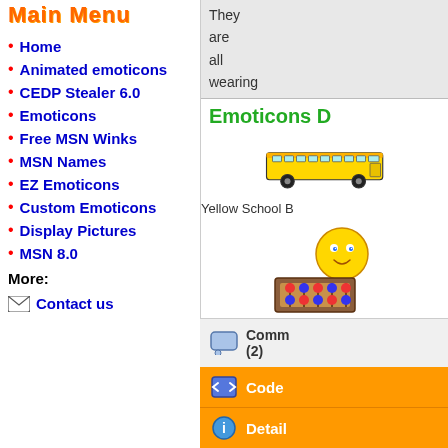Main Menu
Home
Animated emoticons
CEDP Stealer 6.0
Emoticons
Free MSN Winks
MSN Names
EZ Emoticons
Custom Emoticons
Display Pictures
MSN 8.0
More:
Contact us
They are all wearing backpack
Emoticons D
[Figure (illustration): Yellow School Bus emoticon]
Yellow School B
[Figure (illustration): Abacus smiley emoticon - yellow smiley face using abacus]
Abacus
Comm (2)
Code
Detail